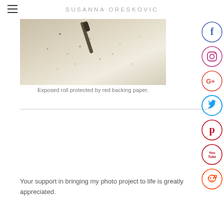SUSANNA ORESKOVIC
[Figure (photo): Close-up photo of an exposed roll protected by red backing paper, showing dark speckled marks on a light surface with what appears to be a film roll or similar object]
Exposed roll protected by red backing paper.
Your support in bringing my photo project to life is greatly appreciated.